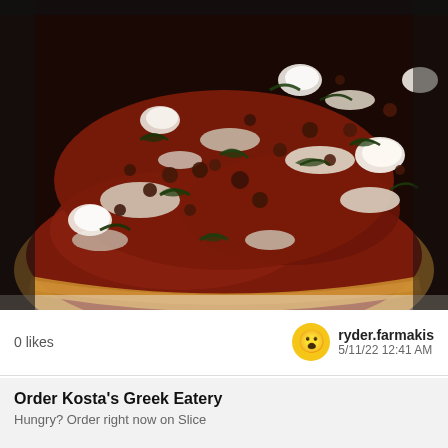[Figure (photo): Close-up photograph of a Greek pizza with red tomato sauce, melted mozzarella cheese, ricotta dollops, crumbled meat (sausage/lamb), and chopped fresh basil leaves on a round thin crust, placed on white parchment paper.]
0 likes
ryder.farmakis
5/11/22 12:41 AM
Order Kosta's Greek Eatery
Hungry? Order right now on Slice